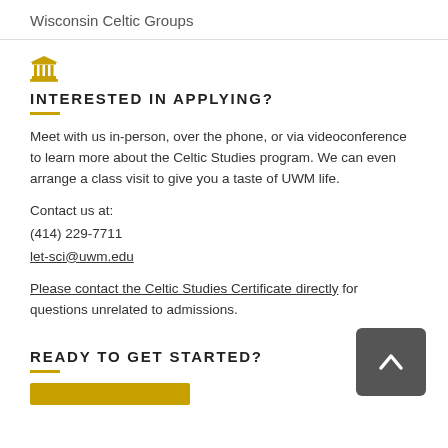Wisconsin Celtic Groups
INTERESTED IN APPLYING?
Meet with us in-person, over the phone, or via videoconference to learn more about the Celtic Studies program. We can even arrange a class visit to give you a taste of UWM life.
Contact us at:
(414) 229-7711
let-sci@uwm.edu
Please contact the Celtic Studies Certificate directly for questions unrelated to admissions.
READY TO GET STARTED?